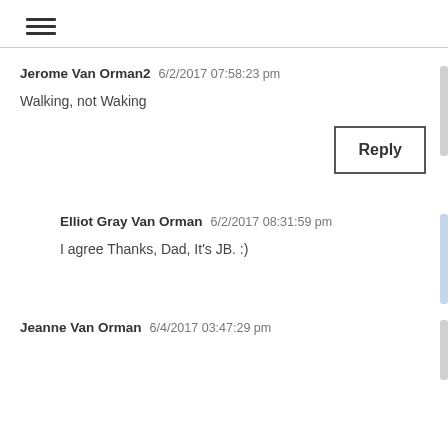≡
Jerome Van Orman2  6/2/2017 07:58:23 pm
Walking, not Waking
Reply
Elliot Gray Van Orman  6/2/2017 08:31:59 pm
I agree Thanks, Dad, It's JB. :)
Jeanne Van Orman  6/4/2017 03:47:29 pm